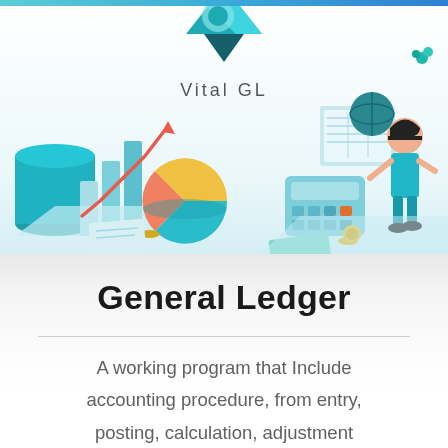[Figure (illustration): Vital GL product banner illustration with accounting/finance graphics (bar chart with red arrow trending up, pie chart, calculator, coins, spreadsheet, woman working at computer) and Vital GL logo (teal inverted triangle with circle cutout) centered at top with text 'Vital GL']
General Ledger
A working program that Include accounting procedure, from entry, posting, calculation, adjustment